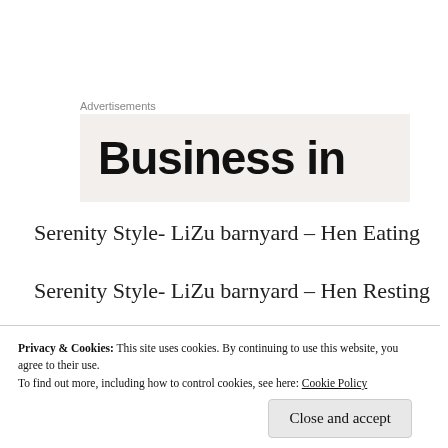Advertisements
[Figure (other): Advertisement banner showing partial text 'Business in' on a light grey/beige background]
Serenity Style- LiZu barnyard – Hen Eating
Serenity Style- LiZu barnyard – Hen Resting
~~~~~
Serenity Style- Hen R... (partial, obscured)
Privacy & Cookies: This site uses cookies. By continuing to use this website, you agree to their use.
To find out more, including how to control cookies, see here: Cookie Policy
Close and accept